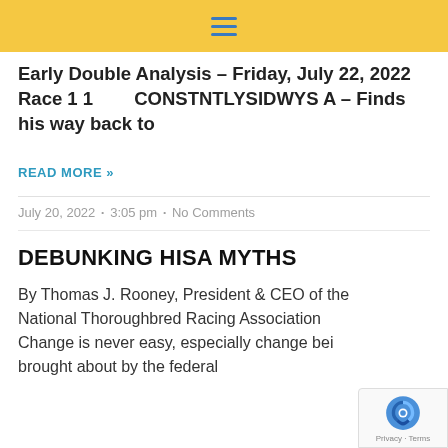≡
Early Double Analysis – Friday, July 22, 2022 Race 1 1        CONSTNTLYSIDWYS A – Finds his way back to
READ MORE »
July 20, 2022  •  3:05 pm  •  No Comments
DEBUNKING HISA MYTHS
By Thomas J. Rooney, President & CEO of the National Thoroughbred Racing Association Change is never easy, especially change being brought about by the federal